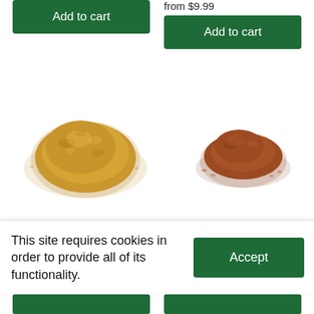[Figure (screenshot): E-commerce spice product page showing two 'Add to cart' buttons at top, two piles of ground spice (left: yellowish-brown spice, right: darker reddish-brown spice), star ratings showing 'No reviews' for both products, a cookie consent banner reading 'This site requires cookies in order to provide all of its functionality.' with an Accept button, and partial green buttons at the bottom.]